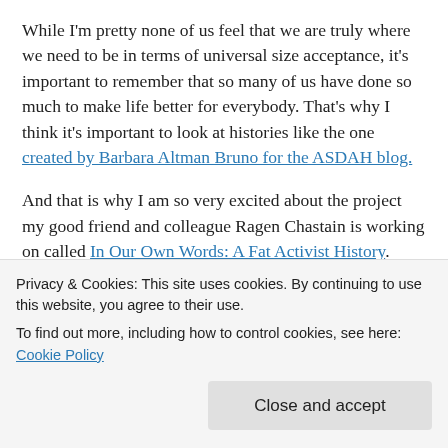While I'm pretty none of us feel that we are truly where we need to be in terms of universal size acceptance, it's important to remember that so many of us have done so much to make life better for everybody.  That's why I think it's important to look at histories like the one created by Barbara Altman Bruno for the ASDAH blog.
And that is why I am so very excited about the project my good friend and colleague Ragen Chastain is working on called In Our Own Words: A Fat Activist History.  Ragen is recording interviews with many of these people who have been so important to the movement.  She's funding the project herself, so don't be afraid to throw a few dollars and
Privacy & Cookies: This site uses cookies. By continuing to use this website, you agree to their use.
To find out more, including how to control cookies, see here: Cookie Policy
Close and accept